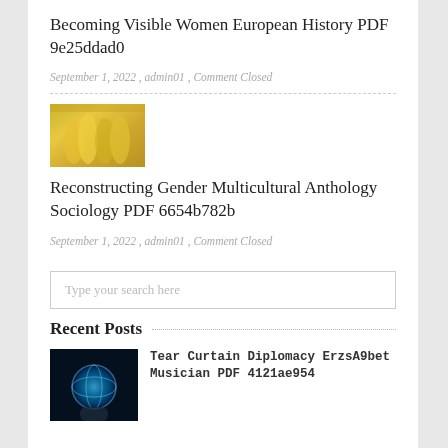Becoming Visible Women European History PDF 9e25ddad0
September 1, 2022 , admin01 , Comment Closed
Reconstructing Gender Multicultural Anthology Sociology PDF 6654b782b
September 1, 2022 , admin01 , Comment Closed
Type your search here
Recent Posts
Tear Curtain Diplomacy ErzsA9bet Musician PDF 4121ae954